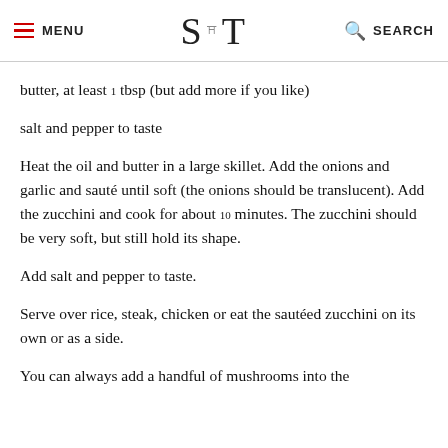MENU | S T (logo) | SEARCH
butter, at least 1 tbsp (but add more if you like)
salt and pepper to taste
Heat the oil and butter in a large skillet. Add the onions and garlic and sauté until soft (the onions should be translucent). Add the zucchini and cook for about 10 minutes. The zucchini should be very soft, but still hold its shape.
Add salt and pepper to taste.
Serve over rice, steak, chicken or eat the sautéed zucchini on its own or as a side.
You can always add a handful of mushrooms into the